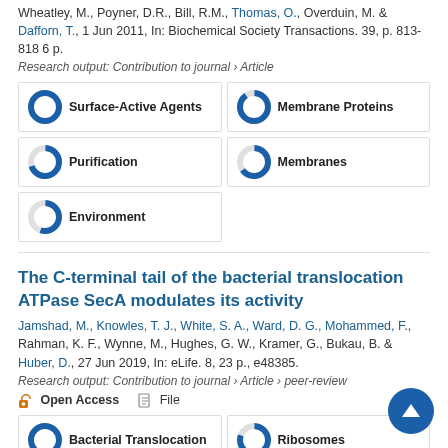Wheatley, M., Poyner, D.R., Bill, R.M., Thomas, O., Overduin, M. & Dafforn, T., 1 Jun 2011, In: Biochemical Society Transactions. 39, p. 813-818 6 p.
Research output: Contribution to journal › Article
[Figure (other): Keyword badges with donut chart icons: Surface-Active Agents (100%), Membrane Proteins (~90%), Purification (~70%), Membranes (~65%), Environment (~55%)]
The C-terminal tail of the bacterial translocation ATPase SecA modulates its activity
Jamshad, M., Knowles, T. J., White, S. A., Ward, D. G., Mohammed, F., Rahman, K. F., Wynne, M., Hughes, G. W., Kramer, G., Bukau, B. & Huber, D., 27 Jun 2019, In: eLife. 8, 23 p., e48385.
Research output: Contribution to journal › Article › peer-review
Open Access   File
[Figure (other): Keyword badges: Bacterial Translocation (100%), Ribosomes (~80%)]